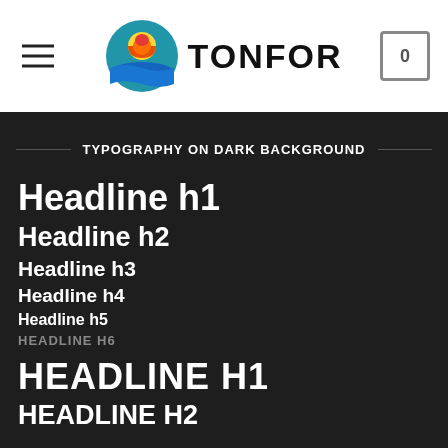TONFOR (logo with sun/waves icon, hamburger menu, cart icon with 0)
TYPOGRAPHY ON DARK BACKGROUND
Headline h1
Headline h2
Headline h3
Headline h4
Headline h5
HEADLINE H6
HEADLINE H1
HEADLINE H2